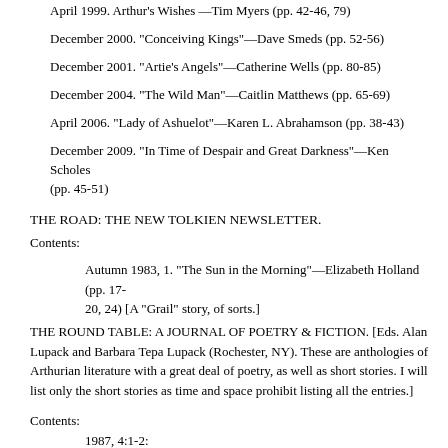April 1999. Arthur's Wishes —Tim Myers (pp. 42-46, 79)
December 2000. "Conceiving Kings"—Dave Smeds (pp. 52-56)
December 2001. "Artie's Angels"—Catherine Wells (pp. 80-85)
December 2004. "The Wild Man"—Caitlin Matthews (pp. 65-69)
April 2006. "Lady of Ashuelot"—Karen L. Abrahamson (pp. 38-43)
December 2009. "In Time of Despair and Great Darkness"—Ken Scholes (pp. 45-51)
THE ROAD: THE NEW TOLKIEN NEWSLETTER.
Contents:
Autumn 1983, 1. "The Sun in the Morning"—Elizabeth Holland (pp. 17-20, 24) [A "Grail" story, of sorts.]
THE ROUND TABLE: A JOURNAL OF POETRY & FICTION. [Eds. Alan Lupack and Barbara Tepa Lupack (Rochester, NY). These are anthologies of Arthurian literature with a great deal of poetry, as well as short stories. I will list only the short stories as time and space prohibit listing all the entries.]
Contents:
1987, 4:1-2:
"The Story of Grisandole"—John Matthews
"The Perilous Bed"—John Matthews